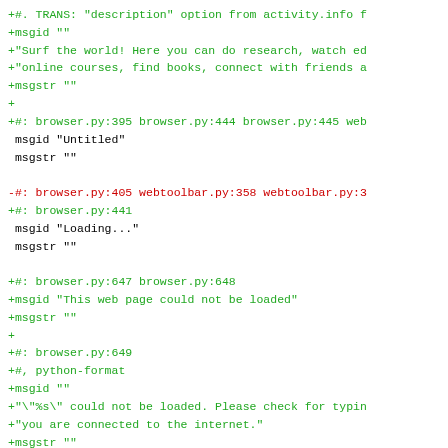Code diff showing gettext/po file entries with additions (green) and removals (red) related to browser.py and webtoolbar.py localization strings.